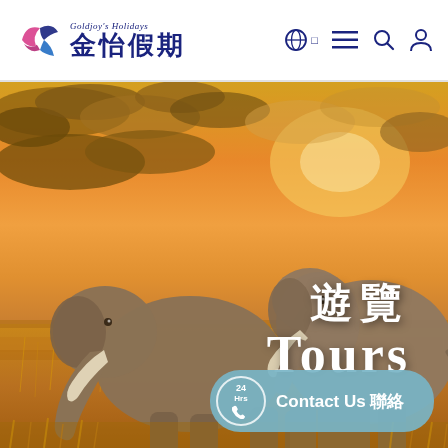Goldjoy's Holidays 金怡假期
[Figure (photo): Two elephants walking across an African savanna at golden sunset, with dramatic orange and yellow clouds in the background. Tall dry grass in the foreground.]
遊覽
Tours
Contact Us 24Hrs 聯絡我們